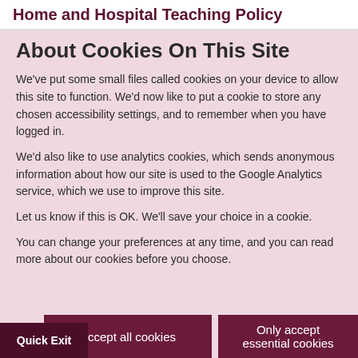Home and Hospital Teaching Policy
About Cookies On This Site
We've put some small files called cookies on your device to allow this site to function. We'd now like to put a cookie to store any chosen accessibility settings, and to remember when you have logged in.
We'd also like to use analytics cookies, which sends anonymous information about how our site is used to the Google Analytics service, which we use to improve this site.
Let us know if this is OK. We'll save your choice in a cookie.
You can change your preferences at any time, and you can read more about our cookies before you choose.
Quick Exit
Accept all cookies
Only accept essential cookies